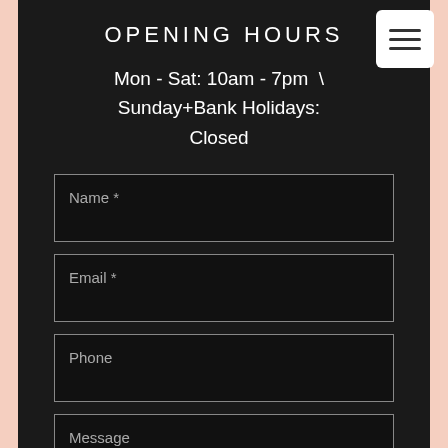OPENING HOURS
Mon - Sat: 10am - 7pm \ Sunday+Bank Holidays: Closed
Name *
Email *
Phone
Message